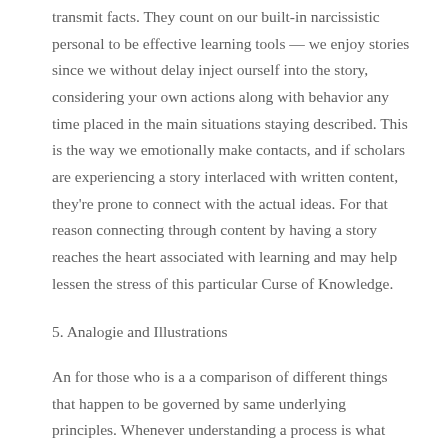transmit facts. They count on our built-in narcissistic personal to be effective learning tools — we enjoy stories since we without delay inject ourself into the story, considering your own actions along with behavior any time placed in the main situations staying described. This is the way we emotionally make contacts, and if scholars are experiencing a story interlaced with written content, they're prone to connect with the actual ideas. For that reason connecting through content by having a story reaches the heart associated with learning and may help lessen the stress of this particular Curse of Knowledge.
5. Analogie and Illustrations
An for those who is a a comparison of different things that happen to be governed by same underlying principles. Whenever understanding a process is what